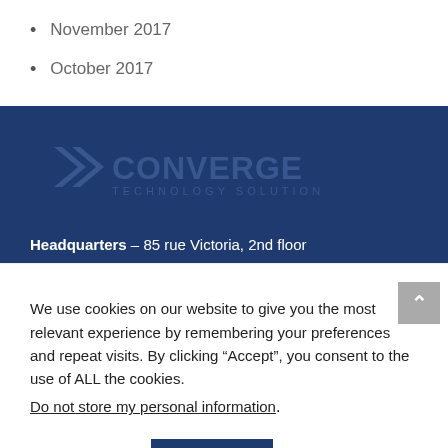November 2017
October 2017
[Figure (logo): Converge Technology Solutions logo on dark blue background banner]
Headquarters – 85 rue Victoria, 2nd floor
We use cookies on our website to give you the most relevant experience by remembering your preferences and repeat visits. By clicking “Accept”, you consent to the use of ALL the cookies.
Do not store my personal information.
Cookie settings   ACCEPT